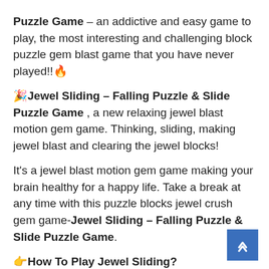Puzzle Game – an addictive and easy game to play, the most interesting and challenging block puzzle gem blast game that you have never played!!🔥
🎉Jewel Sliding – Falling Puzzle & Slide Puzzle Game , a new relaxing jewel blast motion gem game. Thinking, sliding, making jewel blast and clearing the jewel blocks!
It's a jewel blast motion gem game making your brain healthy for a happy life. Take a break at any time with this puzzle blocks jewel crush gem game-Jewel Sliding – Falling Puzzle & Slide Puzzle Game.
👉How To Play Jewel Sliding?
🟦1: Sliding block to make gem blast.
🟦2: The gem has no support points and will fall.